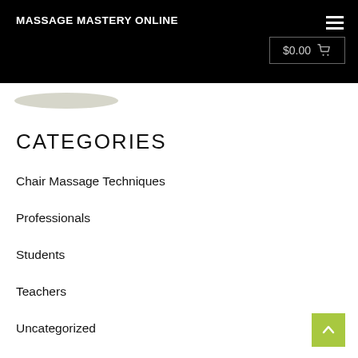MASSAGE MASTERY ONLINE
$0.00
CATEGORIES
Chair Massage Techniques
Professionals
Students
Teachers
Uncategorized